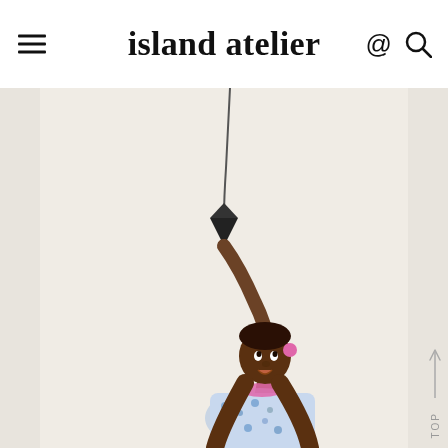island atelier
[Figure (photo): A young dark-skinned girl reaching up with one arm to touch a hanging light fixture or object suspended from above. She is wearing a blue floral dress and a pink collar/scarf. She is looking upward with her mouth open. The background is a plain off-white/cream color. The photo is cropped showing her from roughly waist up with her arm fully extended overhead.]